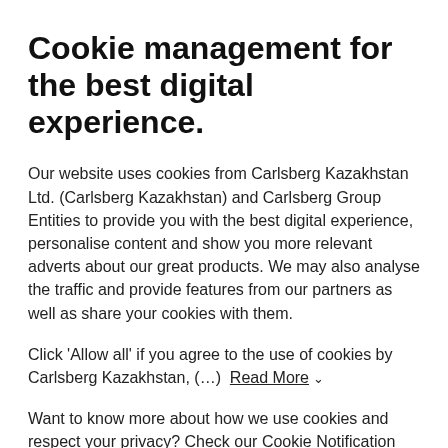Cookie management for the best digital experience.
Our website uses cookies from Carlsberg Kazakhstan Ltd. (Carlsberg Kazakhstan) and Carlsberg Group Entities to provide you with the best digital experience, personalise content and show you more relevant adverts about our great products. We may also analyse the traffic and provide features from our partners as well as share your cookies with them.
Click 'Allow all' if you agree to the use of cookies by Carlsberg Kazakhstan, (...)  Read More ∨
Want to know more about how we use cookies and respect your privacy? Check our Cookie Notification and Privacy Notification.